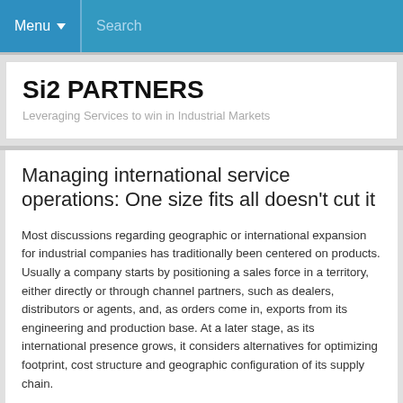Menu  Search
Si2 PARTNERS
Leveraging Services to win in Industrial Markets
Managing international service operations: One size fits all doesn’t cut it
Most discussions regarding geographic or international expansion for industrial companies has traditionally been centered on products. Usually a company starts by positioning a sales force in a territory, either directly or through channel partners, such as dealers, distributors or agents, and, as orders come in, exports from its engineering and production base. At a later stage, as its international presence grows, it considers alternatives for optimizing footprint, cost structure and geographic configuration of its supply chain.
[key_message_box position="right"]
After